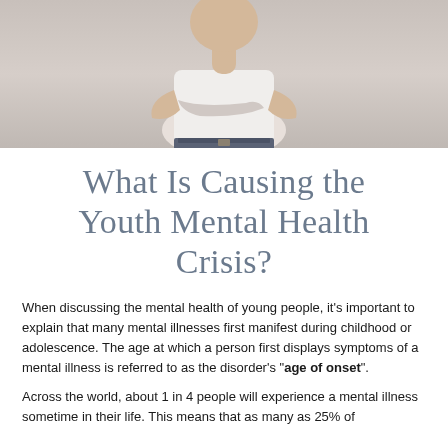[Figure (photo): Person standing with arms crossed, wearing a white t-shirt and jeans, photographed from mid-torso up against a light grey/beige background.]
What Is Causing the Youth Mental Health Crisis?
When discussing the mental health of young people, it's important to explain that many mental illnesses first manifest during childhood or adolescence. The age at which a person first displays symptoms of a mental illness is referred to as the disorder's "age of onset".
Across the world, about 1 in 4 people will experience a mental illness sometime in their life. This means that as many as 25% of